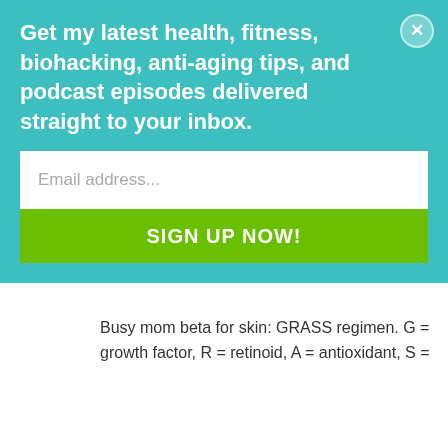Get my latest health, fitness, biohacking, anti-aging tips, and podcast episodes delivered straight to your inbox.
Email address...
SIGN UP NOW!
treatments. I really expected some self care advice we could incorporate into our daily lives.
Reply
Dawn says:
May 1, 2021 at 11:25 am
Busy mom beta for skin: GRASS regimen. G = growth factor, R = retinoid, A = antioxidant, S =